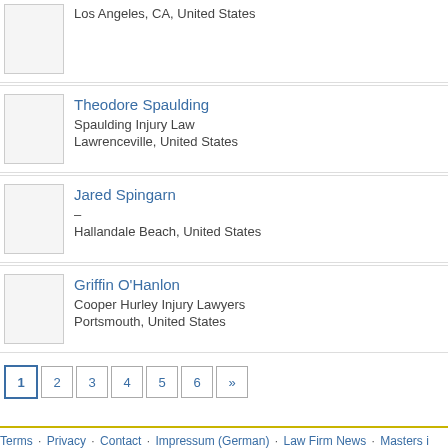Los Angeles, CA, United States
Theodore Spaulding | Spaulding Injury Law | Lawrenceville, United States
Jared Spingarn | – | Hallandale Beach, United States
Griffin O'Hanlon | Cooper Hurley Injury Lawyers | Portsmouth, United States
1 2 3 4 5 6 »
Terms · Privacy · Contact · Impressum (German) · Law Firm News · Masters i...